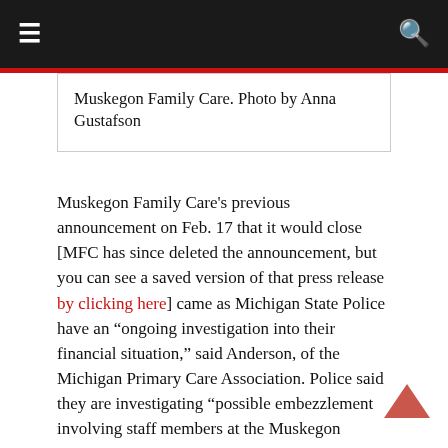☰  🔍
Muskegon Family Care. Photo by Anna Gustafson
Muskegon Family Care's previous announcement on Feb. 17 that it would close [MFC has since deleted the announcement, but you can see a saved version of that press release by clicking here] came as Michigan State Police have an "ongoing investigation into their financial situation," said Anderson, of the Michigan Primary Care Association. Police said they are investigating "possible embezzlement involving staff members at the Muskegon Family Care facility in Muskegon Heights."
"Those issues were compounded by the fact that the organization received significantly less revenue from Medicaid than anticipated," rising organizational costs—such as for employee health insurance, and the "amount